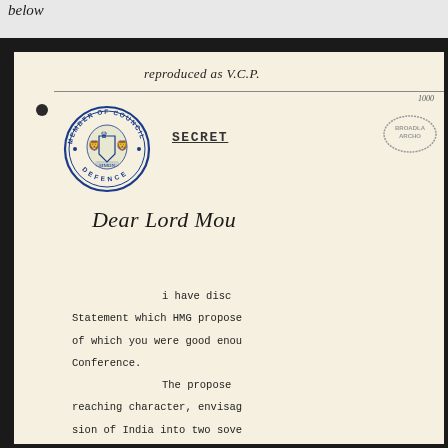below
[Figure (photo): Scanned historical government document page showing a secret letter with a 'Member of Council Defence' circular seal, handwritten annotation 'reproduced as V.C.P.' at top, underlined SECRET marking, a partial archive stamp, handwritten salutation 'Dear Lord Mou', and typed body text beginning 'I have disc... Statement which HMG propose... of which you were good enou... Conference. The propose... reaching character, envisag... sion of India into two sove...']